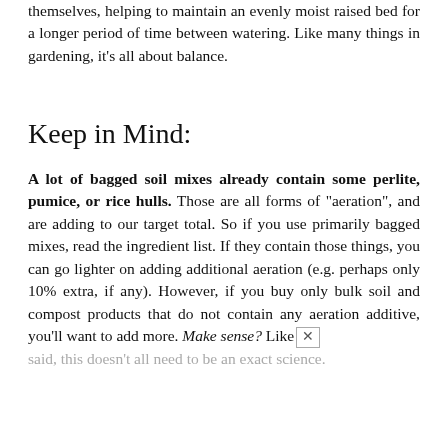themselves, helping to maintain an evenly moist raised bed for a longer period of time between watering. Like many things in gardening, it's all about balance.
Keep in Mind:
A lot of bagged soil mixes already contain some perlite, pumice, or rice hulls. Those are all forms of "aeration", and are adding to our target total. So if you use primarily bagged mixes, read the ingredient list. If they contain those things, you can go lighter on adding additional aeration (e.g. perhaps only 10% extra, if any). However, if you buy only bulk soil and compost products that do not contain any aeration additive, you'll want to add more. Make sense? Like said, this doesn't all need to be an exact science.